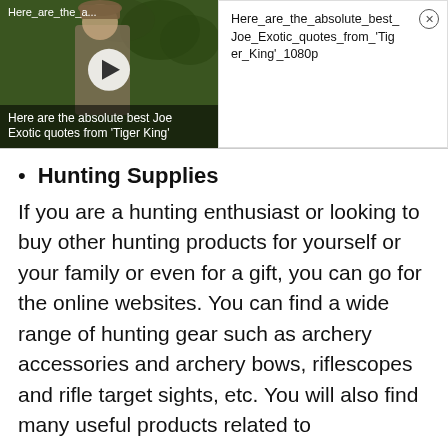[Figure (screenshot): Video thumbnail showing a man outdoors with text overlay 'Here are the absolute best Joe Exotic quotes from Tiger King']
Here_are_the_absolute_best_Joe_Exotic_quotes_from_'Tiger_King'_1080p
Hunting Supplies
If you are a hunting enthusiast or looking to buy other hunting products for yourself or your family or even for a gift, you can go for the online websites. You can find a wide range of hunting gear such as archery accessories and archery bows, riflescopes and rifle target sights, etc. You will also find many useful products related to campgrounds and camping gear, and fishing